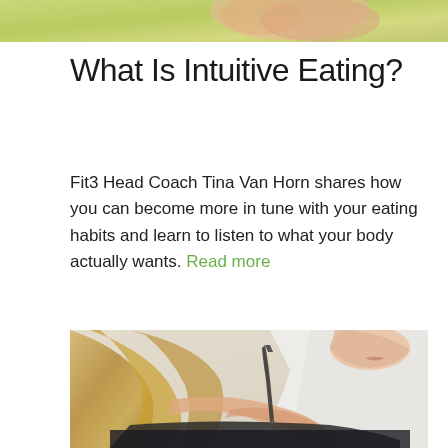[Figure (photo): Partial view of a photo at the top of the page, cropped — appears to show hands or food items with a greenish-yellow background.]
What Is Intuitive Eating?
Fit3 Head Coach Tina Van Horn shares how you can become more in tune with your eating habits and learn to listen to what your body actually wants. Read more
[Figure (photo): A blonde woman in a white shirt leaning over and writing with a pen in a dark notebook, photographed from slightly above and to the side.]